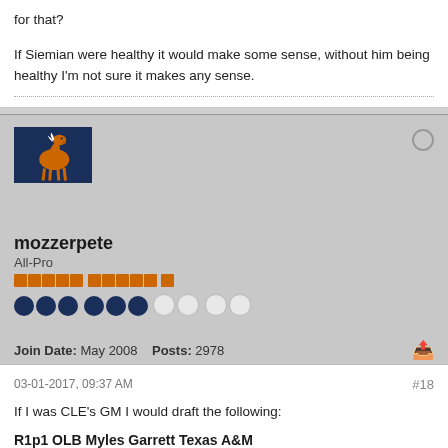for that?
If Siemian were healthy it would make some sense, without him being healthy I'm not sure it makes any sense.
[Figure (illustration): Denver Broncos logo avatar - navy blue background with orange horse logo]
mozzerpete
All-Pro
Join Date: May 2008   Posts: 2978
03-01-2017, 09:37 AM
#18
If I was CLE's GM I would draft the following:
R1p1 OLB Myles Garrett Texas A&M
Myles Garrett and Jamie Collins would make dominant bookend OLBs.
R1p12 ILB Reuben Foster Alabama
Easily the best ILB and just adds to an insane LB core.